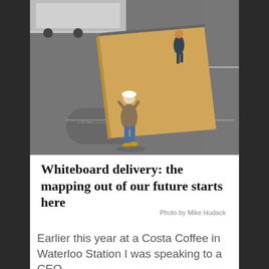[Figure (photo): Aerial/overhead view of two workers carrying a large rectangular cardboard/whiteboard panel across an asphalt street, with a truck visible in the background. The photo is taken from above.]
Whiteboard delivery: the mapping out of our future starts here
Photo by Mike Hudack
Earlier this year at a Costa Coffee in Waterloo Station I was speaking to a CEO